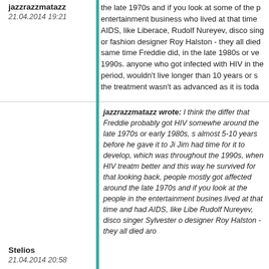jazzrazzmatazz
21.04.2014 19:21
the late 1970s and if you look at some of the people in the entertainment business who lived at that time and had AIDS, like Liberace, Rudolf Nureyev, disco singer or fashion designer Roy Halston - they all died at the same time Freddie did, in the late 1980s or very early 1990s. anyone who got infected with HIV in that period, wouldn't live longer than 10 years or so as the treatment wasn't as advanced as it is today
jazzrazzmatazz wrote: I think the difference is that Freddie probably got HIV somewhere around the late 1970s or early 1980s, so almost 5-10 years before he gave it to Jim. Jim had time for it to develop, which was throughout the 1990s, when HIV treatment was better and this way he survived for that long. looking back, people mostly got affected around the late 1970s and if you look at the people in the entertainment business who lived at that time and had AIDS, like Liberace, Rudolf Nureyev, disco singer Sylvester or designer Roy Halston - they all died around
Stelios
21.04.2014 20:58